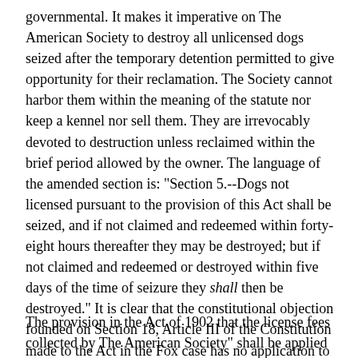governmental. It makes it imperative on The American Society to destroy all unlicensed dogs seized after the temporary detention permitted to give opportunity for their reclamation. The Society cannot harbor them within the meaning of the statute nor keep a kennel nor sell them. They are irrevocably devoted to destruction unless reclaimed within the brief period allowed by the owner. The language of the amended section is: "Section 5.--Dogs not licensed pursuant to the provision of this Act shall be seized, and if not claimed and redeemed within forty-eight hours thereafter they may be destroyed; but if not claimed and redeemed or destroyed within five days of the time of seizure they shall then be destroyed." It is clear that the constitutional objection founded on Section 18, Article III of the Constitution made to the Act in the Fox case has no application to the Act of 1902. *152*
The provision in the Act of 1902 that the license fees collected by The American Society" shall be applied by said